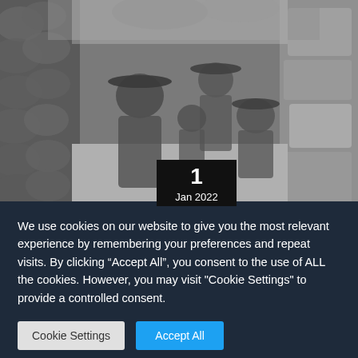[Figure (photo): Black and white historical photograph of soldiers in a trench, wearing wide-brimmed hats and military uniforms, surrounded by sandbags and rocky walls. Several men are visible seated and standing in the narrow trench.]
1
Jan 2022
We use cookies on our website to give you the most relevant experience by remembering your preferences and repeat visits. By clicking “Accept All”, you consent to the use of ALL the cookies. However, you may visit "Cookie Settings" to provide a controlled consent.
Cookie Settings
Accept All